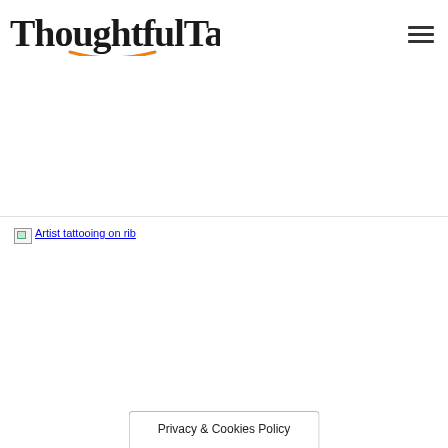ThoughtfulTattoos
[Figure (other): Broken image placeholder with alt text 'Artist tattooing on rib' shown as a linked image that failed to load]
Privacy & Cookies Policy